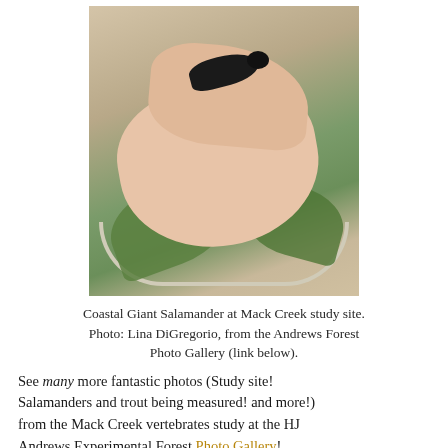[Figure (photo): A small dark Coastal Giant Salamander resting in a person's cupped hand, with large green leaves and a white bowl visible in the background.]
Coastal Giant Salamander at Mack Creek study site. Photo: Lina DiGregorio, from the Andrews Forest Photo Gallery (link below).
See many more fantastic photos (Study site! Salamanders and trout being measured! and more!) from the Mack Creek vertebrates study at the HJ Andrews Experimental Forest Photo Gallery!